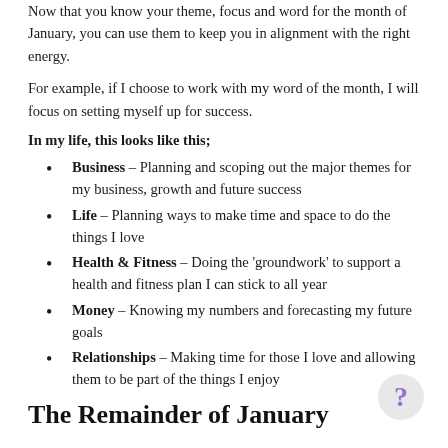Now that you know your theme, focus and word for the month of January, you can use them to keep you in alignment with the right energy.
For example, if I choose to work with my word of the month, I will focus on setting myself up for success.
In my life, this looks like this;
Business - Planning and scoping out the major themes for my business, growth and future success
Life - Planning ways to make time and space to do the things I love
Health & Fitness - Doing the 'groundwork' to support a health and fitness plan I can stick to all year
Money - Knowing my numbers and forecasting my future goals
Relationships - Making time for those I love and allowing them to be part of the things I enjoy
The Remainder of January